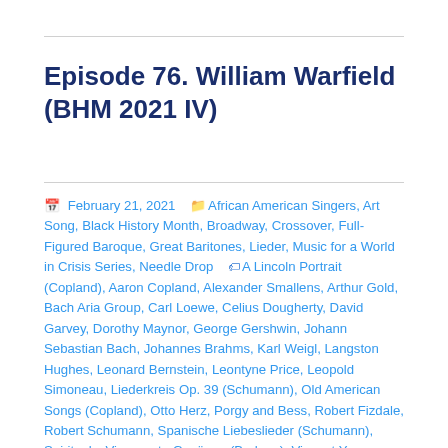Episode 76. William Warfield (BHM 2021 IV)
February 21, 2021  African American Singers, Art Song, Black History Month, Broadway, Crossover, Full-Figured Baroque, Great Baritones, Lieder, Music for a World in Crisis Series, Needle Drop  A Lincoln Portrait (Copland), Aaron Copland, Alexander Smallens, Arthur Gold, Bach Aria Group, Carl Loewe, Celius Dougherty, David Garvey, Dorothy Maynor, George Gershwin, Johann Sebastian Bach, Johannes Brahms, Karl Weigl, Langston Hughes, Leonard Bernstein, Leontyne Price, Leopold Simoneau, Liederkreis Op. 39 (Schumann), Old American Songs (Copland), Otto Herz, Porgy and Bess, Robert Fizdale, Robert Schumann, Spanische Liebeslieder (Schumann), Spirituals, Vier ernste Gesänge (Brahms), Vincent Youmans, Virgil Fox, Voice of Firestone, William Marshall, William Warfield  countermelody